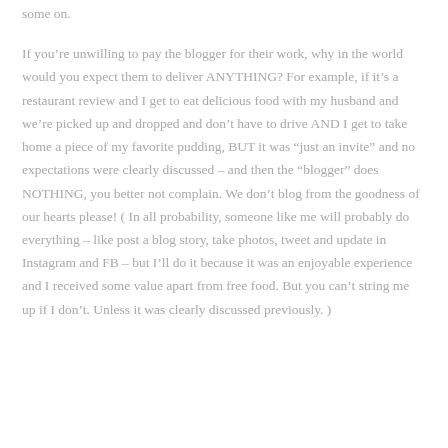some on.
If you're unwilling to pay the blogger for their work, why in the world would you expect them to deliver ANYTHING? For example, if it's a restaurant review and I get to eat delicious food with my husband and we're picked up and dropped and don't have to drive AND I get to take home a piece of my favorite pudding, BUT it was “just an invite” and no expectations were clearly discussed – and then the “blogger” does NOTHING, you better not complain. We don't blog from the goodness of our hearts please! ( In all probability, someone like me will probably do everything – like post a blog story, take photos, tweet and update in Instagram and FB – but I'll do it because it was an enjoyable experience and I received some value apart from free food. But you can't string me up if I don't. Unless it was clearly discussed previously. )